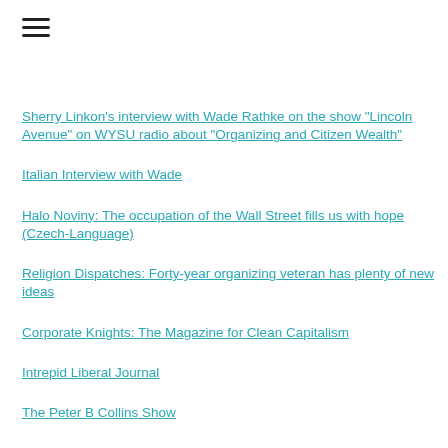[Figure (other): Hamburger menu icon with three horizontal lines]
Sherry Linkon's interview with Wade Rathke on the show "Lincoln Avenue" on WYSU radio about "Organizing and Citizen Wealth"
Italian Interview with Wade
Halo Noviny: The occupation of the Wall Street fills us with hope (Czech-Language)
Religion Dispatches: Forty-year organizing veteran has plenty of new ideas
Corporate Knights: The Magazine for Clean Capitalism
Intrepid Liberal Journal
The Peter B Collins Show
For Original Writing by Wade Click Here